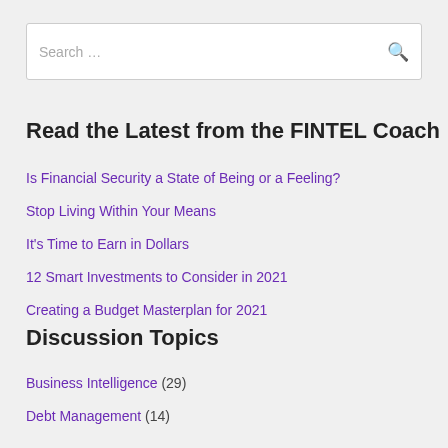Search …
Read the Latest from the FINTEL Coach
Is Financial Security a State of Being or a Feeling?
Stop Living Within Your Means
It's Time to Earn in Dollars
12 Smart Investments to Consider in 2021
Creating a Budget Masterplan for 2021
Discussion Topics
Business Intelligence (29)
Debt Management (14)